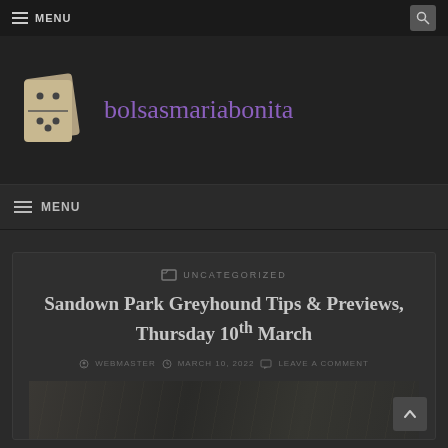≡ MENU
[Figure (logo): bolsasmariabonita website logo with domino tile illustration and purple site title text]
≡ MENU
UNCATEGORIZED
Sandown Park Greyhound Tips & Previews, Thursday 10th March
WEBMASTER  MARCH 10, 2022  LEAVE A COMMENT
[Figure (photo): Greyhound racing track photo, dark toned]